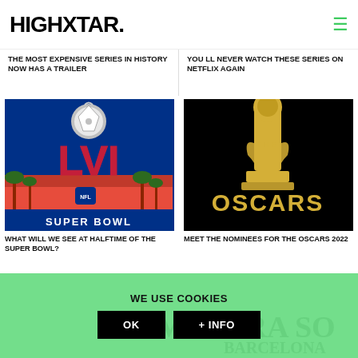HIGHXTAR.
THE MOST EXPENSIVE SERIES IN HISTORY NOW HAS A TRAILER
YOU LL NEVER WATCH THESE SERIES ON NETFLIX AGAIN
[Figure (photo): Super Bowl LVI logo with Lombardi Trophy and LVI text on blue and red background with palm trees and SUPER BOWL text at bottom]
WHAT WILL WE SEE AT HALFTIME OF THE SUPER BOWL?
[Figure (photo): The Oscars 2022 logo with golden Oscar statuette on black background with THE OSCARS text in gold]
MEET THE NOMINEES FOR THE OSCARS 2022
WE USE COOKIES
OK
+ INFO